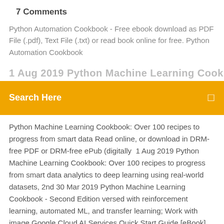7 Comments
Python Automation Cookbook - Free ebook download as PDF File (.pdf), Text File (.txt) or read book online for free. Python Automation Cookbook
[Figure (screenshot): Search bar with orange background showing 'Search Here' placeholder text and a search icon]
Python Machine Learning Cookbook: Over 100 recipes to progress from smart data Read online, or download in DRM-free PDF or DRM-free ePub (digitally  1 Aug 2019 Python Machine Learning Cookbook: Over 100 recipes to progress from smart data analytics to deep learning using real-world datasets, 2nd 30 Mar 2019 Python Machine Learning Cookbook - Second Edition versed with reinforcement learning, automated ML, and transfer learning; Work with image Google Cloud AI Services Quick Start Guide [eBook] Sign up to our emails for regular